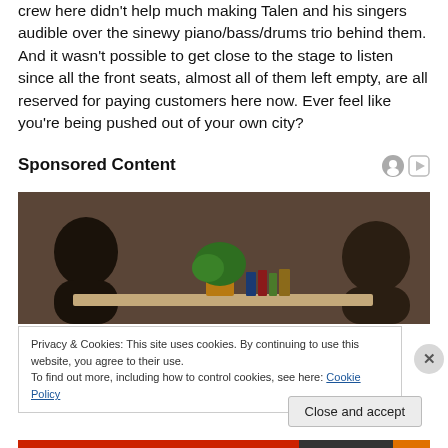crew here didn't help much making Talen and his singers audible over the sinewy piano/bass/drums trio behind them. And it wasn't possible to get close to the stage to listen since all the front seats, almost all of them left empty, are all reserved for paying customers here now. Ever feel like you're being pushed out of your own city?
Sponsored Content
[Figure (photo): Two people seated at a desk with books and a plant in the background, interview/talk show setting with dark brown backdrop]
Privacy & Cookies: This site uses cookies. By continuing to use this website, you agree to their use.
To find out more, including how to control cookies, see here: Cookie Policy
Close and accept